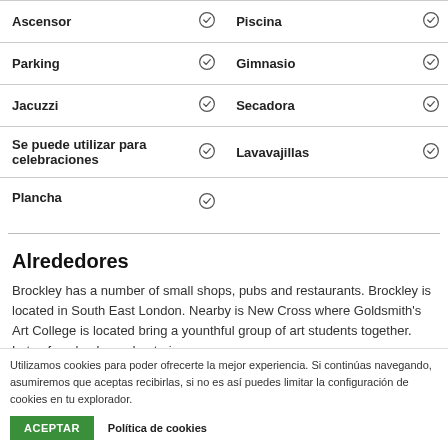| Amenidad |  | Amenidad |  |
| --- | --- | --- | --- |
| Ascensor | ✓ | Piscina | ✓ |
| Parking | ✓ | Gimnasio | ✓ |
| Jacuzzi | ✓ | Secadora | ✓ |
| Se puede utilizar para celebraciones | ✓ | Lavavajillas | ✓ |
| Plancha | ✓ |  |  |
Alrededores
Brockley has a number of small shops, pubs and restaurants. Brockley is located in South East London. Nearby is New Cross where Goldsmith's Art College is located bring a younthful group of art students together. Lots of cool pubs and eateries.
Utilizamos cookies para poder ofrecerte la mejor experiencia. Si continúas navegando, asumiremos que aceptas recibirlas, si no es así puedes limitar la configuración de cookies en tu explorador.